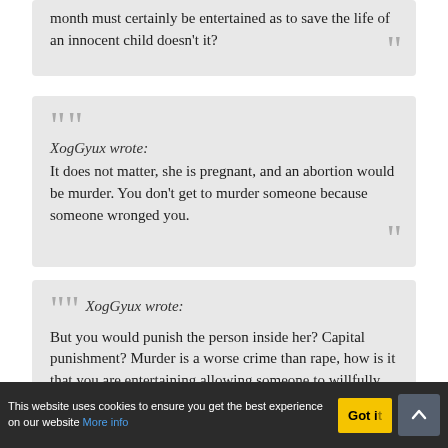month must certainly be entertained as to save the life of an innocent child doesn't it?
XogGyux wrote: It does not matter, she is pregnant, and an abortion would be murder. You don't get to murder someone because someone wronged you.
XogGyux wrote: But you would punish the person inside her? Capital punishment? Murder is a worse crime than rape, how is it that you are entertaining allowing someone to willfully and knowingly commit a worse crime? This is the "socratic method" that you talk about? Seems pretty barbaric to me.
This website uses cookies to ensure you get the best experience on our website More info